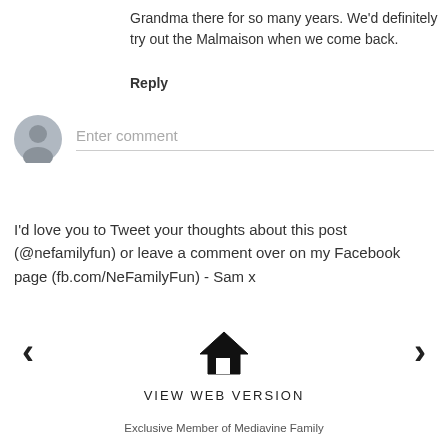Grandma there for so many years. We'd definitely try out the Malmaison when we come back.
Reply
[Figure (other): Comment input box with avatar placeholder icon on the left and 'Enter comment' placeholder text with a bottom border line]
I'd love you to Tweet your thoughts about this post (@nefamilyfun) or leave a comment over on my Facebook page (fb.com/NeFamilyFun) - Sam x
[Figure (illustration): Navigation bar with left arrow chevron, home icon (house), right arrow chevron, and VIEW WEB VERSION label below]
Exclusive Member of Mediavine Family